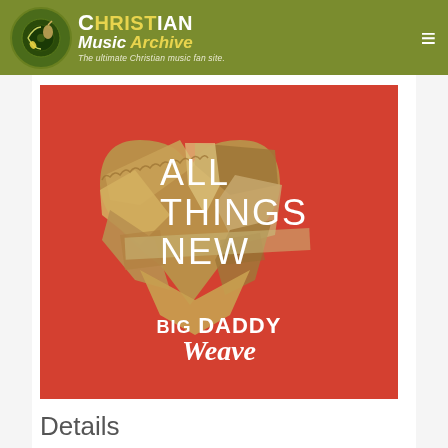Christian Music Archive — The ultimate Christian music fan site.
[Figure (photo): Album cover for 'All Things New' by Big Daddy Weave. Red background with a cardboard collage heart shape in the center. White text reads 'ALL THINGS NEW' inside the heart. Below the heart: 'BIG DADDY Weave' in white text.]
Details